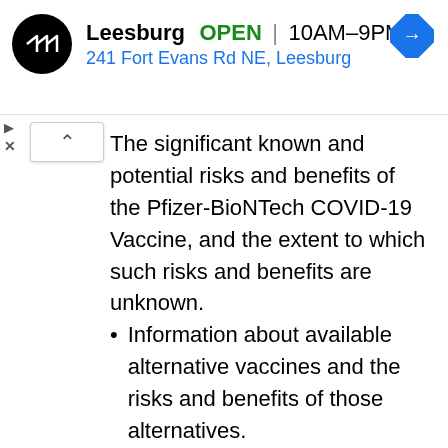[Figure (screenshot): Ad banner showing Leesburg store: logo, OPEN status, hours 10AM-9PM, address 241 Fort Evans Rd NE Leesburg, navigation arrow icon]
The significant known and potential risks and benefits of the Pfizer-BioNTech COVID-19 Vaccine, and the extent to which such risks and benefits are unknown.
Information about available alternative vaccines and the risks and benefits of those alternatives.
For information on clinical trials that are testing the use of the Pfizer-BioNTech COVID-19 Vaccine to prevent COVID-19, please see www.clinicaltrials.gov.